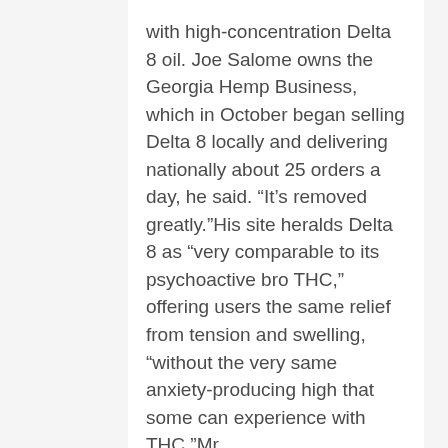with high-concentration Delta 8 oil. Joe Salome owns the Georgia Hemp Business, which in October began selling Delta 8 locally and delivering nationally about 25 orders a day, he said. “It’s removed greatly.”His site heralds Delta 8 as “very comparable to its psychoactive bro THC,” offering users the same relief from tension and swelling, “without the very same anxiety-producing high that some can experience with THC.”Mr.
Numerous states are more liberal than the federal government, which under the Controlled Substances Act considers cannabis an unlawful and